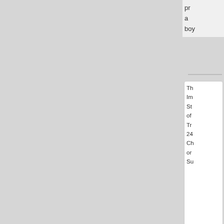pr
a
boy
Th
Im
St
of
Tr
24
Ch
or
Su
[Figure (screenshot): Forum post by Das Kaiserliche Vaterland with German eagle flag avatar, QUOTE button, post date Tue Dec 01, 2020 1:40 pm, and partial post text starting with 'Bo']
Das Kaiserliche Vaterland
Bureaucrat
Posts: 45
Founded: Jul 20, 2019
Corporate Police State
by Das Kaiserliche Vaterland » Tue Dec 01, 2020 1:40 pm
Bo